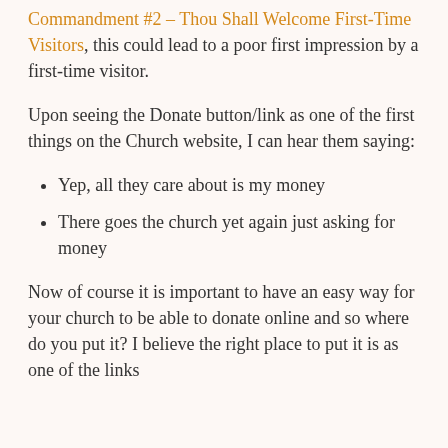Commandment #2 – Thou Shall Welcome First-Time Visitors, this could lead to a poor first impression by a first-time visitor.
Upon seeing the Donate button/link as one of the first things on the Church website, I can hear them saying:
Yep, all they care about is my money
There goes the church yet again just asking for money
Now of course it is important to have an easy way for your church to be able to donate online and so where do you put it? I believe the right place to put it is as one of the links